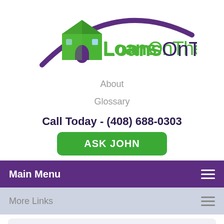[Figure (logo): LoansOnTheWeb.com logo with green house icon and purple arc]
About
Glossary
Call Today - (408) 688-0303
ASK JOHN
Main Menu
More Links
You are here: Home / Loan Options / Featured /